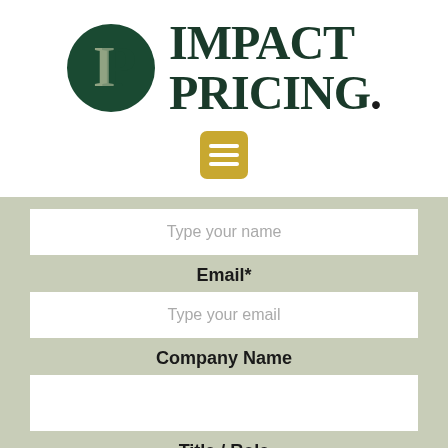[Figure (logo): Impact Pricing logo: dark green circle with stylized IP letters in gold/green, beside bold serif text reading IMPACT PRICING. with a period]
[Figure (other): Gold/amber rounded square hamburger menu icon with three white horizontal lines]
Type your name
Email*
Type your email
Company Name
Title / Role